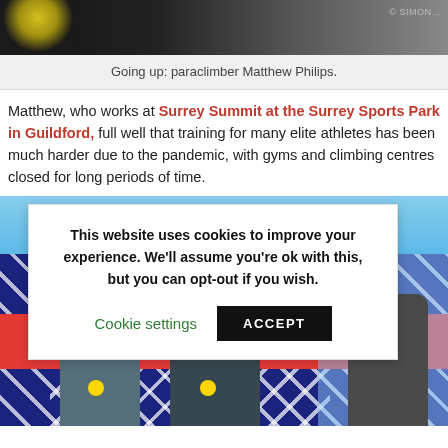[Figure (photo): Top portion of a paraclimber photo, dark background with partial figure]
Going up: paraclimber Matthew Philips.
Matthew, who works at Surrey Summit at the Surrey Sports Park in Guildford, full well that training for many elite athletes has been much harder due to the pandemic, with gyms and climbing centres closed for long periods of time.
[Figure (screenshot): Cookie consent banner overlay on a sports event photo. Banner text: This website uses cookies to improve your experience. We'll assume you're ok with this, but you can opt-out if you wish. Buttons: Cookie settings, ACCEPT. Background shows an award ceremony with athletes, Union Jack flag.]